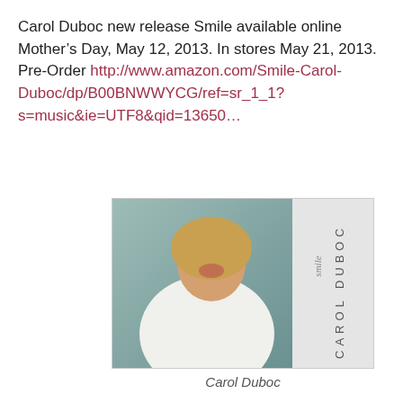Carol Duboc new release Smile available online Mother's Day, May 12, 2013. In stores May 21, 2013. Pre-Order http://www.amazon.com/Smile-Carol-Duboc/dp/B00BNWWYCG/ref=sr_1_1?s=music&ie=UTF8&qid=13650…
[Figure (photo): Album cover for Carol Duboc's 'Smile' — shows a smiling blonde woman in a white blazer against a teal/grey wall, with the artist name 'CAROL DUBOC' written vertically on the right side and 'smile' in cursive script.]
Carol Duboc